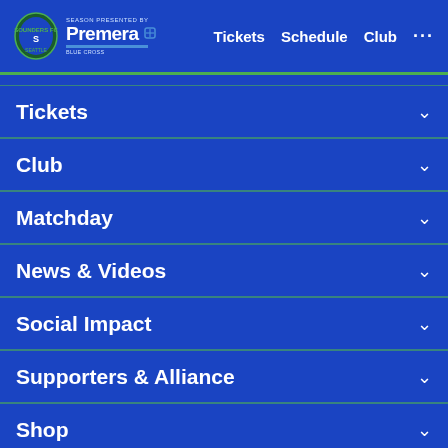Seattle Sounders FC — Season Presented by Premera Blue Cross | Tickets  Schedule  Club  ...
Tickets
Club
Matchday
News & Videos
Social Impact
Supporters & Alliance
Shop
MLS